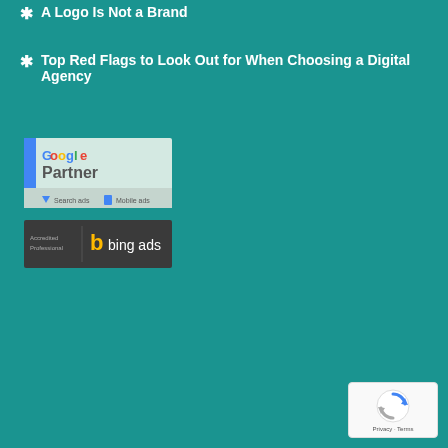A Logo Is Not a Brand
Top Red Flags to Look Out for When Choosing a Digital Agency
[Figure (logo): Google Partner badge with Search ads and Mobile ads icons]
[Figure (logo): Bing Ads Accredited Professional badge]